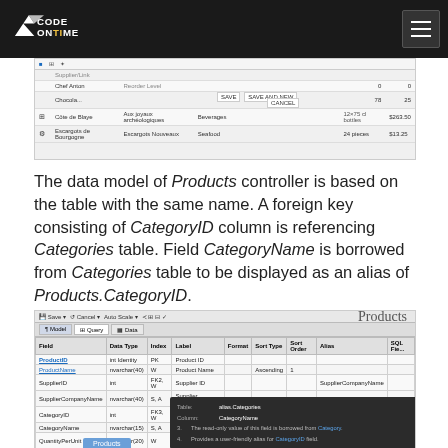Code On Time
[Figure (screenshot): Screenshot of a data grid showing product records with a dialog overlay containing SAVE, SAVE AND NEW, and CANCEL buttons]
The data model of Products controller is based on the table with the same name. A foreign key consisting of CategoryID column is referencing Categories table. Field CategoryName is borrowed from Categories table to be displayed as an alias of Products.CategoryID.
[Figure (screenshot): Screenshot of the Products data model editor showing fields including ProductID, ProductName, SupplierID, SupplierCompanyName, CategoryID, CategoryName, QuantityPerUnit with a tooltip popup showing alias Categores / CategoryName field details]